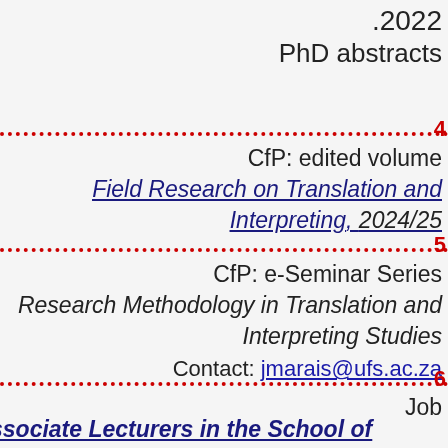.2022
PhD abstracts
CfP: edited volume
Field Research on Translation and Interpreting, 2024/25
CfP: e-Seminar Series
Research Methodology in Translation and Interpreting Studies
Contact: jmarais@ufs.ac.za
Job
Associate Lecturers in the School of Languages
Applied Linguistics: Translation Technology